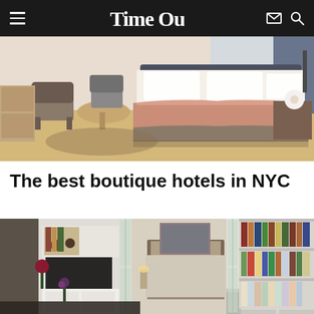Time Out — navigation bar with hamburger menu, logo, email and search icons
[Figure (photo): Hotel room interior photo showing a large bed with white linens and a pink/salmon throw blanket, light wood furniture including a chair and oval coffee table, and a bedside table with white flowers]
The best boutique hotels in NYC
[Figure (photo): Hotel suite interior photo showing white built-in shelving with books, a flat-screen TV, white dresser, glass partition doors leading to a bedroom with a large bed, and decorative items]